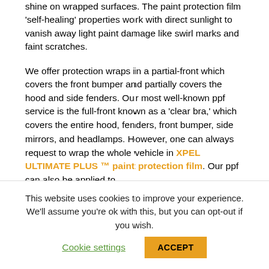shine on wrapped surfaces. The paint protection film 'self-healing' properties work with direct sunlight to vanish away light paint damage like swirl marks and faint scratches.
We offer protection wraps in a partial-front which covers the front bumper and partially covers the hood and side fenders. Our most well-known ppf service is the full-front known as a 'clear bra,' which covers the entire hood, fenders, front bumper, side mirrors, and headlamps. However, one can always request to wrap the whole vehicle in XPEL ULTIMATE PLUS ™ paint protection film. Our ppf can also be applied to
This website uses cookies to improve your experience. We'll assume you're ok with this, but you can opt-out if you wish.
Cookie settings
ACCEPT